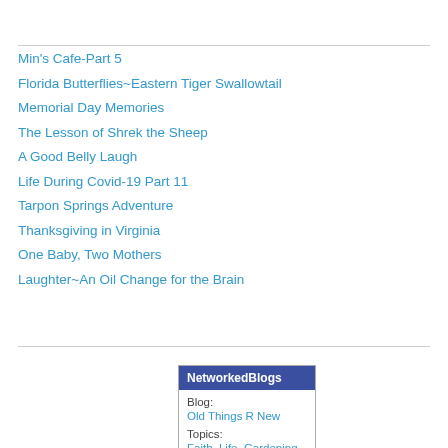Min's Cafe-Part 5
Florida Butterflies~Eastern Tiger Swallowtail
Memorial Day Memories
The Lesson of Shrek the Sheep
A Good Belly Laugh
Life During Covid-19 Part 11
Tarpon Springs Adventure
Thanksgiving in Virginia
One Baby, Two Mothers
Laughter~An Oil Change for the Brain
NetworkedBlogs
Blog:
Old Things R New
Topics:
Faith, Life, Gardening